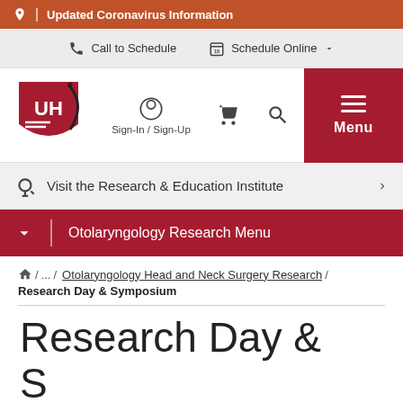Updated Coronavirus Information
Call to Schedule   Schedule Online
[Figure (logo): University Hospitals (UH) logo - red shield with UH letters]
Sign-In / Sign-Up
Menu
Visit the Research & Education Institute
Otolaryngology Research Menu
/ ... / Otolaryngology Head and Neck Surgery Research / Research Day & Symposium
Research Day &